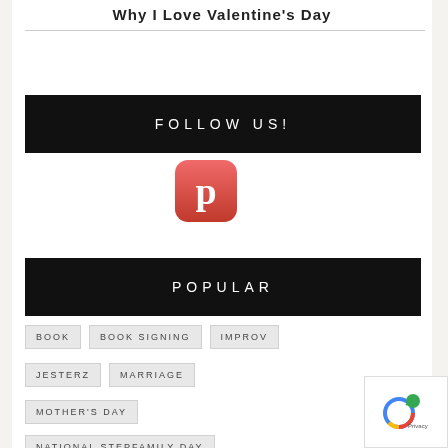Why I Love Valentine's Day
FOLLOW US!
[Figure (logo): Pinterest app icon — red rounded square with white P logo]
POPULAR
BOOK
BOOK SIGNING
IMPROV
JESTERZ
MARRIAGE
MOTHER'S DAY
NATIONAL STEPFAMILY DAY